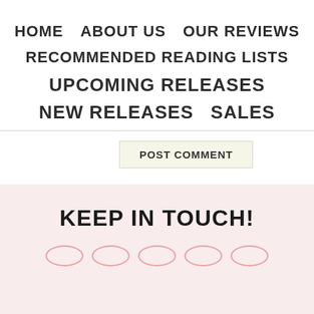HOME   ABOUT US   OUR REVIEWS
RECOMMENDED READING LISTS
UPCOMING RELEASES   NEW RELEASES   SALES
POST COMMENT
This site uses Akismet to reduce spam. Learn how y
KEEP IN TOUCH!